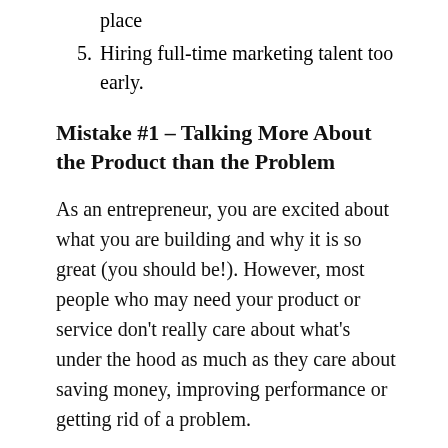place
5. Hiring full-time marketing talent too early.
Mistake #1 – Talking More About the Product than the Problem
As an entrepreneur, you are excited about what you are building and why it is so great (you should be!). However, most people who may need your product or service don't really care about what's under the hood as much as they care about saving money, improving performance or getting rid of a problem.
You have to think about your digital marketing communications – website, emails